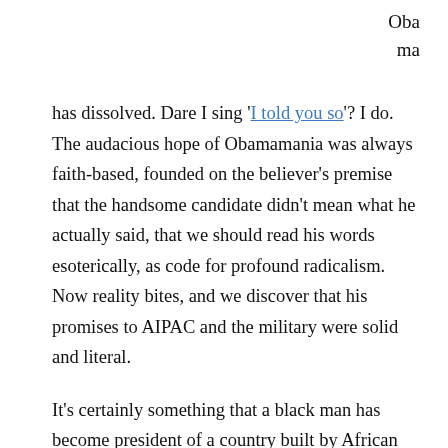Obama has dissolved. Dare I sing 'I told you so'? I do. The audacious hope of Obamamania was always faith-based, founded on the believer's premise that the handsome candidate didn't mean what he actually said, that we should read his words esoterically, as code for profound radicalism. Now reality bites, and we discover that his promises to AIPAC and the military were solid and literal.

It's certainly something that a black man has become president of a country built by African slaves, although we must place this in the context of the fierce racist backlash since his election (would those guardians of the constitution raving about the tree of liberty being